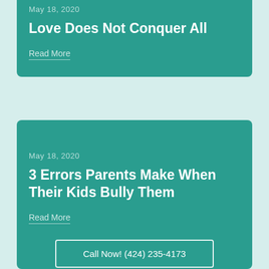May 18, 2020
Love Does Not Conquer All
Read More
May 18, 2020
3 Errors Parents Make When Their Kids Bully Them
Read More
Call Now! (424) 235-4173